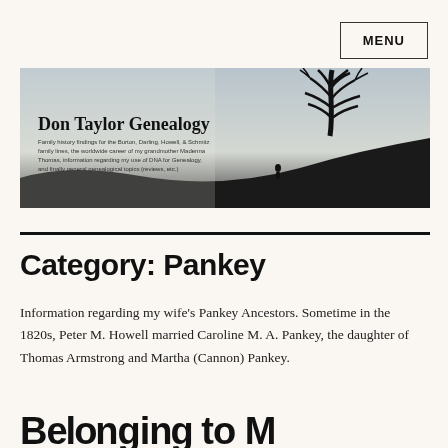MENU
[Figure (photo): Don Taylor Genealogy website banner image showing a silhouette of a bare tree on a hill against a grey sky, with a person standing in the distance. Text reads: Don Taylor Genealogy with a subtitle about family history findings.]
Category: Pankey
Information regarding my wife's Pankey Ancestors. Sometime in the 1820s, Peter M. Howell married Caroline M. A. Pankey, the daughter of Thomas Armstrong and Martha (Cannon) Pankey.